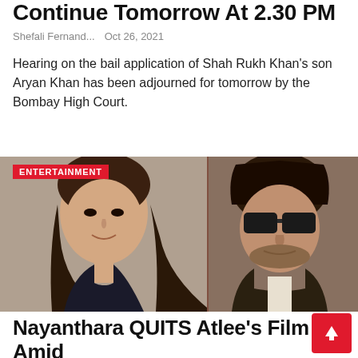Continue Tomorrow At 2.30 PM
Shefali Fernand...   Oct 26, 2021
Hearing on the bail application of Shah Rukh Khan's son Aryan Khan has been adjourned for tomorrow by the Bombay High Court.
[Figure (photo): Two celebrity photos side by side: a woman (Nayanthara) on the left and a man (Shah Rukh Khan) wearing sunglasses on the right, with an ENTERTAINMENT badge overlay]
Nayanthara QUITS Atlee's Film Amid Shah Rukh Khan Controversy: Sources